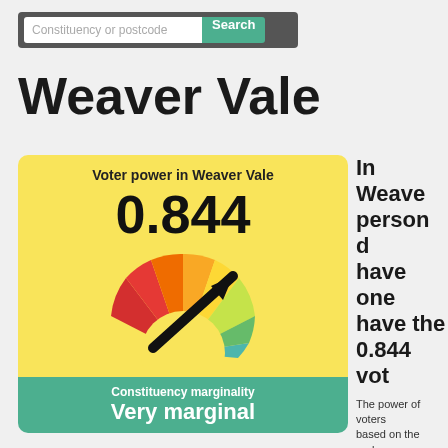[Figure (screenshot): Search bar with 'Constituency or postcode' placeholder and green 'Search' button]
Weaver Vale
[Figure (infographic): Voter power card showing 0.844 with a semicircular gauge in yellow/green tones and arrow pointing to upper right, with teal bottom band showing 'Constituency marginality: Very marginal']
In Weaver Vale, each person does not simply have one vote — they have the equivalent of 0.844 votes.
The power of voters is based on the probability it changes hands and its size.
While you might think all votes count equally, where you live can have a large effect on your power at the next election.